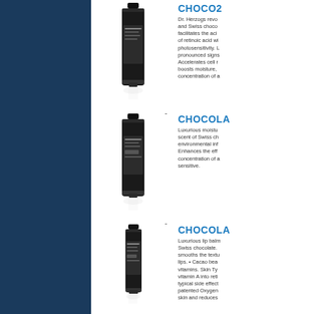[Figure (photo): Dark navy blue sidebar on the left side of the page]
[Figure (photo): Black cosmetic tube product (CHOCO2) standing upright with reflection]
CHOCO2
Dr. Herzogs revo and Swiss choco facilitates the aci of retinoic acid wi photosensitivity. L pronounced signs Accelerates cell r boosts moisture, concentration of a
[Figure (photo): Black cosmetic tube product (CHOCOLA moisturizer) standing upright with reflection]
CHOCOLA
Luxurious moistu scent of Swiss ch environmental inf Enhances the eff concentration of a sensitive.
[Figure (photo): Black cosmetic tube product (CHOCOLA lip balm) standing upright with reflection]
CHOCOLA
Luxurious lip balm Swiss chocolate. smooths the textu lips. • Cacao bea vitamins. Skin Ty vitamin A into reti typical side effect patented Oxygen skin and reduces